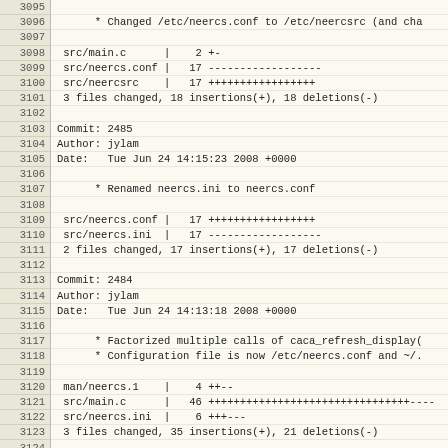Source code commit log lines 3095-3127, showing git log output with commit hashes, authors, dates, and file change summaries